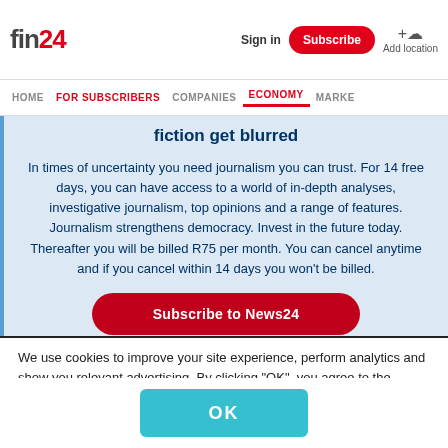fin24 | Sign in | Subscribe | Add location
HOME | FOR SUBSCRIBERS | COMPANIES | ECONOMY | MARKE
fiction get blurred
In times of uncertainty you need journalism you can trust. For 14 free days, you can have access to a world of in-depth analyses, investigative journalism, top opinions and a range of features. Journalism strengthens democracy. Invest in the future today. Thereafter you will be billed R75 per month. You can cancel anytime and if you cancel within 14 days you won't be billed.
Subscribe to News24
We use cookies to improve your site experience, perform analytics and show you relevant advertising. By clicking “OK”, you agree to the storing of cookies on your device. View our Privacy Portal, Cookie Policy & Cookie FAQs
OK